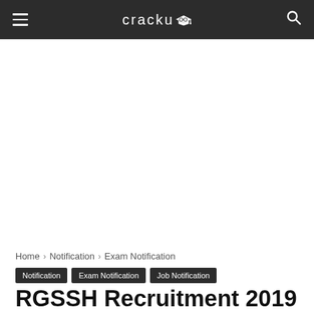cracku
[Figure (other): Advertisement/blank area below header]
Home › Notification › Exam Notification
Notification  Exam Notification  Job Notification
RGSSH Recruitment 2019